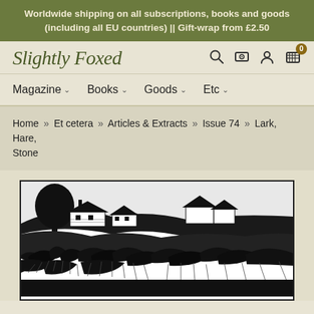Worldwide shipping on all subscriptions, books and goods (including all EU countries) || Gift-wrap from £2.50
[Figure (logo): Slightly Foxed logo in italic serif script]
Magazine  Books  Goods  Etc
Home » Et cetera » Articles & Extracts » Issue 74 » Lark, Hare, Stone
[Figure (illustration): Black and white woodcut illustration of a rural landscape with thatched cottages, trees, and rolling hills with dense foliage in the foreground]